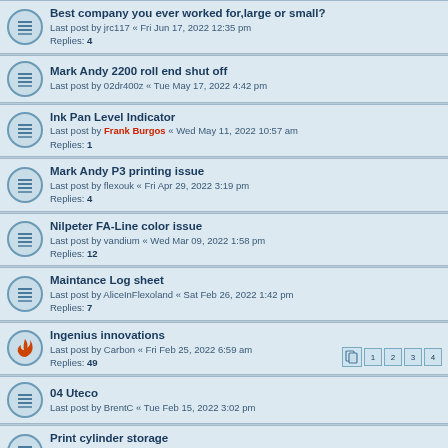Best company you ever worked for,large or small?
Last post by jrc117 « Fri Jun 17, 2022 12:35 pm
Replies: 4
Mark Andy 2200 roll end shut off
Last post by 02dr400z « Tue May 17, 2022 4:42 pm
Ink Pan Level Indicator
Last post by Frank Burgos « Wed May 11, 2022 10:57 am
Replies: 1
Mark Andy P3 printing issue
Last post by flexouk « Fri Apr 29, 2022 3:19 pm
Replies: 4
Nilpeter FA-Line color issue
Last post by vandium « Wed Mar 09, 2022 1:58 pm
Replies: 12
Maintance Log sheet
Last post by AliceInFlexoland « Sat Feb 26, 2022 1:42 pm
Replies: 7
Ingenius innovations
Last post by Carbon « Fri Feb 25, 2022 6:59 am
Replies: 49
04 Uteco
Last post by BrentC « Tue Feb 15, 2022 3:02 pm
Print cylinder storage
Last post by longtimefan « Sat Feb 05, 2022 11:18 am
Replies: 1